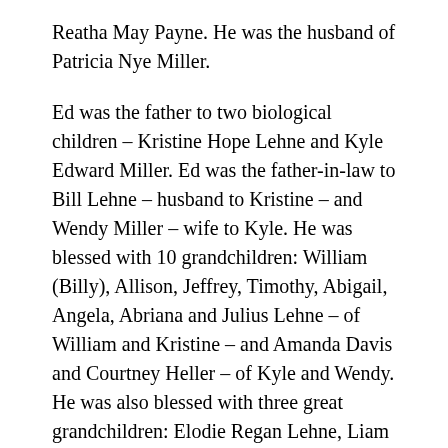Reatha May Payne. He was the husband of Patricia Nye Miller.
Ed was the father to two biological children – Kristine Hope Lehne and Kyle Edward Miller. Ed was the father-in-law to Bill Lehne – husband to Kristine – and Wendy Miller – wife to Kyle. He was blessed with 10 grandchildren: William (Billy), Allison, Jeffrey, Timothy, Abigail, Angela, Abriana and Julius Lehne – of William and Kristine – and Amanda Davis and Courtney Heller – of Kyle and Wendy. He was also blessed with three great grandchildren: Elodie Regan Lehne, Liam James Dey and Colton Trey Davis.
Ed was a determined, generous man who provided well for his family and built and maintained a reputation of honor. He was an incredibly strong man